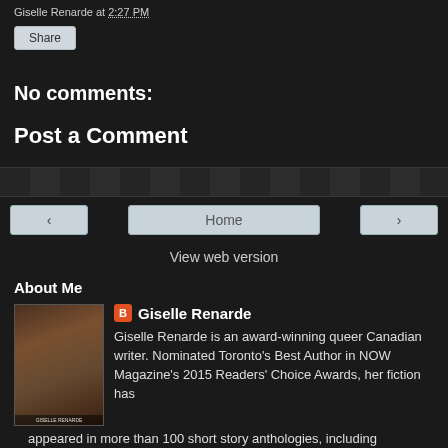Giselle Renarde at 2:27 PM
Share
No comments:
Post a Comment
Home
View web version
About Me
[Figure (photo): Book cover photo showing a woman in period dress, titled with author name Giselle Renarde]
Giselle Renarde
Giselle Renarde is an award-winning queer Canadian writer. Nominated Toronto's Best Author in NOW Magazine's 2015 Readers' Choice Awards, her fiction has appeared in more than 100 short story anthologies, including prestigious collections like Best Lesbian Romance, Best Women's Erotica, and the Lambda Award-winning collection Take Me There,